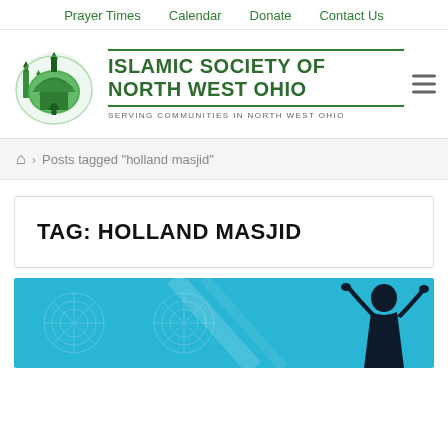Prayer Times   Calendar   Donate   Contact Us
[Figure (logo): Islamic Society of North West Ohio logo: green mosque/dome illustration with minaret, circular design]
ISLAMIC SOCIETY OF NORTH WEST OHIO
SERVING COMMUNITIES IN NORTH WEST OHIO
Posts tagged "holland masjid"
TAG: HOLLAND MASJID
[Figure (photo): Article header image: blue decorative Islamic pattern background with silhouette of a person praying (raising hands in supplication)]